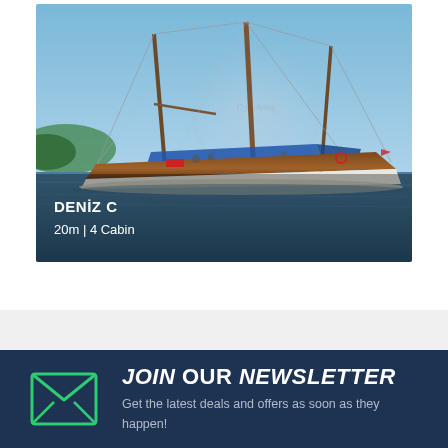[Figure (photo): A wooden gulet/sailboat named DENIZ C on blue sea water against a clear blue sky. The boat has multiple masts with rigging, blue canvas covers, and a distinctive wooden hull with white sides. A watermark circle with text is faintly visible. Overlaid text shows the boat name and specs.]
DENİZ C
20m | 4 Cabin
JOIN OUR NEWSLETTER
Get the latest deals and offers as soon as they happen!